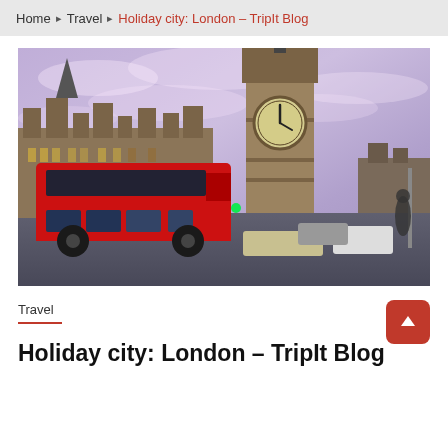Home ▸ Travel ▸ Holiday city: London – TripIt Blog
[Figure (photo): Big Ben clock tower with Houses of Parliament in background, red double-decker bus and traffic in foreground, dramatic purple-pink sky at dusk in London]
Travel
Holiday city: London – TripIt Blog